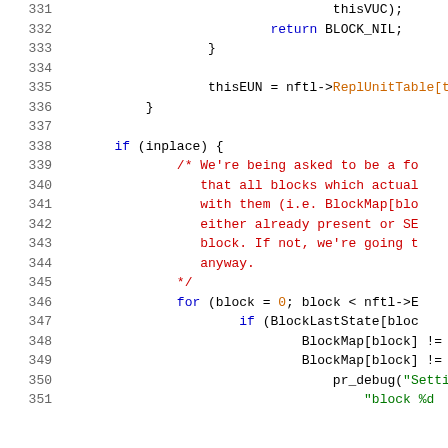Source code listing, lines 331-351, C programming language with syntax highlighting